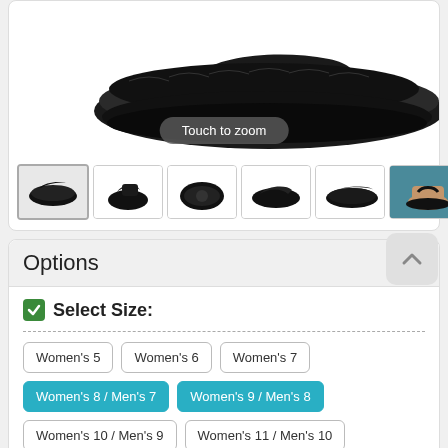[Figure (photo): Main product image of a black slide sandal/slipper viewed from above at an angle, showing a fuzzy footbed and curved sole on white background.]
Touch to zoom
[Figure (photo): Row of 6 thumbnail images of the same black sandal from different angles: side view, back-angle, sole/bottom view, top-flat view, side profile, and lifestyle photo of sandal worn on a foot.]
Options
Select Size:
Women's 5
Women's 6
Women's 7
Women's 8 / Men's 7
Women's 9 / Men's 8
Women's 10 / Men's 9
Women's 11 / Men's 10